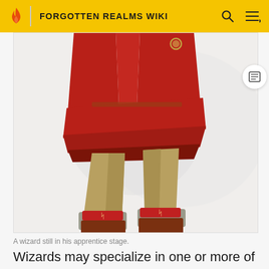FORGOTTEN REALMS WIKI
[Figure (illustration): Lower body of a wizard character in fantasy art style, wearing a red robe, tan trousers, and brown boots with runic buckles. White/grey magical background.]
A wizard still in his apprentice stage.
Wizards may specialize in one or more of eight schools of magic, choosing their specialty early on in their training.